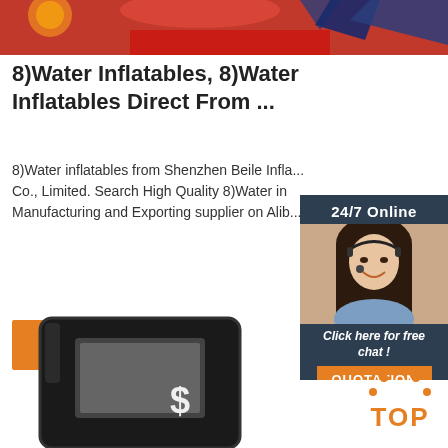[Figure (photo): Top portion of an inflatable water slide or bouncy castle in red and blue colors with decorative elements]
8)Water Inflatables, 8)Water Inflatables Direct From ...
8)Water inflatables from Shenzhen Beile Infla... Co., Limited. Search High Quality 8)Water in Manufacturing and Exporting supplier on Alib...
[Figure (illustration): Chat widget with 24/7 Online label, woman with headset, 'Click here for free chat!' text, and orange QUOTATION button]
[Figure (other): Orange button labeled Get Price]
[Figure (photo): Black inflatable money booth/cash cube with dollar sign visible]
[Figure (logo): Orange TOP logo with dot pattern above letters]